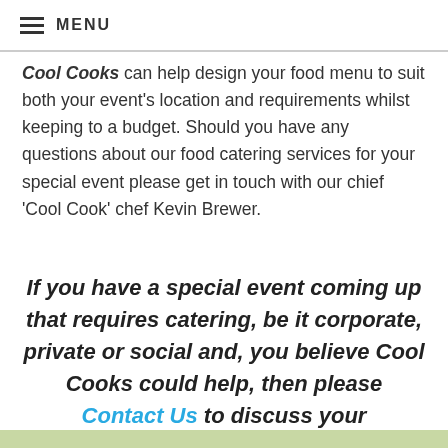≡ MENU
Cool Cooks can help design your food menu to suit both your event's location and requirements whilst keeping to a budget. Should you have any questions about our food catering services for your special event please get in touch with our chief 'Cool Cook' chef Kevin Brewer.
If you have a special event coming up that requires catering, be it corporate, private or social and, you believe Cool Cooks could help, then please Contact Us to discuss your requirements.